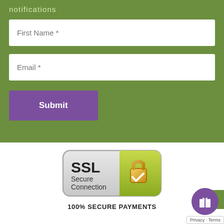notifications
First Name *
Email *
Submit
[Figure (logo): SSL Secure Connection badge with padlock icon and green checkmark]
100% SECURE PAYMENTS